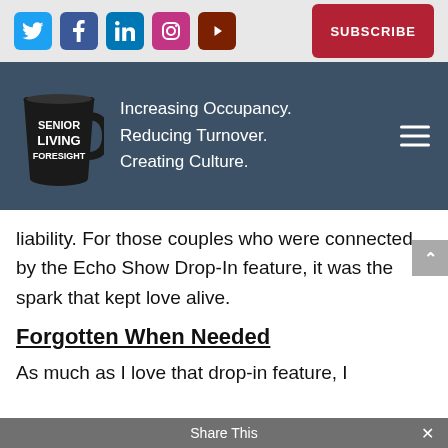Social media icons: Twitter, Facebook, LinkedIn, Instagram, YouTube | SUBSCRIBE button
[Figure (logo): Senior Living Foresight logo with mug and tagline: Increasing Occupancy. Reducing Turnover. Creating Culture.]
liability. For those couples who were connected by the Echo Show Drop-In feature, it was the spark that kept love alive.
Forgotten When Needed
As much as I love that drop-in feature, I
Share This